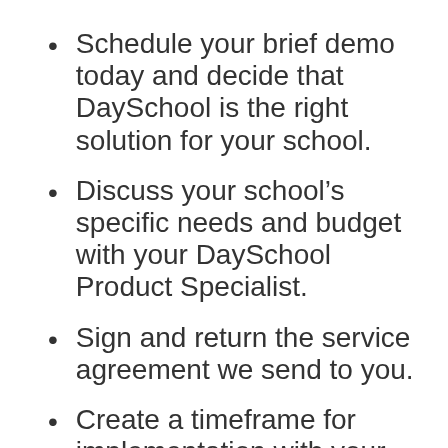Schedule your brief demo today and decide that DaySchool is the right solution for your school.
Discuss your school’s specific needs and budget with your DaySchool Product Specialist.
Sign and return the service agreement we send to you.
Create a timeframe for implementation with your Product Specialist